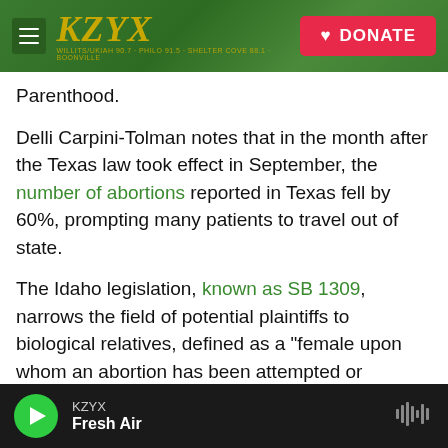KZYX | DONATE
Parenthood.
Delli Carpini-Tolman notes that in the month after the Texas law took effect in September, the number of abortions reported in Texas fell by 60%, prompting many patients to travel out of state.
The Idaho legislation, known as SB 1309, narrows the field of potential plaintiffs to biological relatives, defined as a "female upon whom an abortion has been attempted or performed, the father of the preborn child, a grandparent of the preborn child, a sibling of the preborn child, or an aunt or uncle of the preborn child" By altering from abortion would
KZYX | Fresh Air